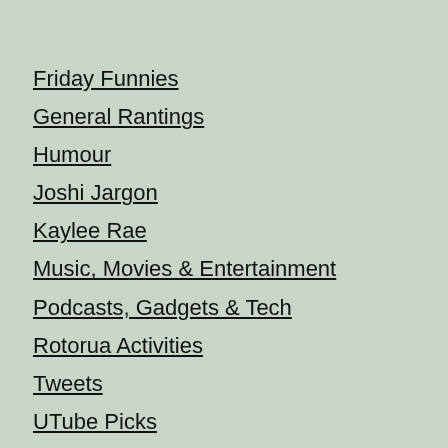Friday Funnies
General Rantings
Humour
Joshi Jargon
Kaylee Rae
Music, Movies & Entertainment
Podcasts, Gadgets & Tech
Rotorua Activities
Tweets
UTube Picks
Web Design